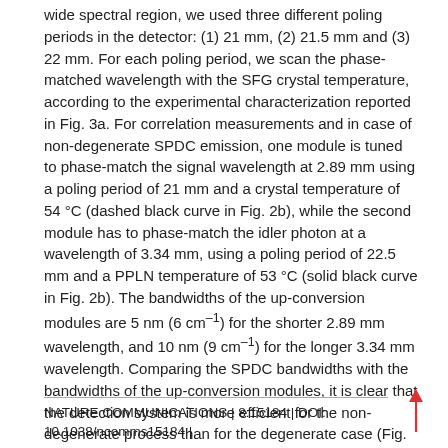wide spectral region, we used three different poling periods in the detector: (1) 21 mm, (2) 21.5 mm and (3) 22 mm. For each poling period, we scan the phase-matched wavelength with the SFG crystal temperature, according to the experimental characterization reported in Fig. 3a. For correlation measurements and in case of non-degenerate SPDC emission, one module is tuned to phase-match the signal wavelength at 2.89 mm using a poling period of 21 mm and a crystal temperature of 54 °C (dashed black curve in Fig. 2b), while the second module has to phase-match the idler photon at a wavelength of 3.34 mm, using a poling period of 22.5 mm and a PPLN temperature of 53 °C (solid black curve in Fig. 2b). The bandwidths of the up-conversion modules are 5 nm (6 cm⁻¹) for the shorter 2.89 mm wavelength, and 10 nm (9 cm⁻¹) for the longer 3.34 mm wavelength. Comparing the SPDC bandwidths with the bandwidths of the up-conversion modules, it is clear that the detection system is more efficient for the non-degenerate process than for the degenerate case (Fig. 2b). Considering the spectral overlap of
NATURE COMMUNICATIONS | 8:15184 | DOI: 10.1038/ncomms15184 |